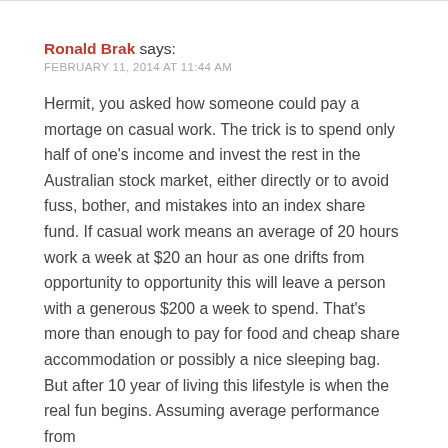Ronald Brak says: FEBRUARY 11, 2014 AT 11:44 AM
Hermit, you asked how someone could pay a mortage on casual work. The trick is to spend only half of one's income and invest the rest in the Australian stock market, either directly or to avoid fuss, bother, and mistakes into an index share fund. If casual work means an average of 20 hours work a week at $20 an hour as one drifts from opportunity to opportunity this will leave a person with a generous $200 a week to spend. That's more than enough to pay for food and cheap share accommodation or possibly a nice sleeping bag. But after 10 year of living this lifestyle is when the real fun begins. Assuming average performance from